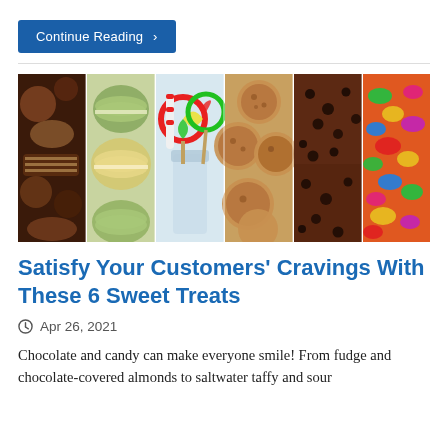Continue Reading ›
[Figure (photo): Six vertical strip photos of sweets and candies: chocolates, green macarons, colorful lollipops in a jar, oat cookies, chocolate with chocolate chips, and assorted gummy candies]
Satisfy Your Customers' Cravings With These 6 Sweet Treats
Apr 26, 2021
Chocolate and candy can make everyone smile! From fudge and chocolate-covered almonds to saltwater taffy and sour